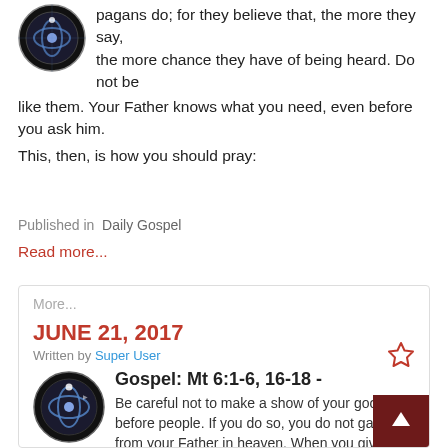pagans do; for they believe that, the more they say, the more chance they have of being heard. Do not be like them. Your Father knows what you need, even before you ask him.
This, then, is how you should pray:
Published in Daily Gospel
Read more...
More...
JUNE 21, 2017
Written by Super User
Gospel: Mt 6:1-6, 16-18 -
Be careful not to make a show of your good d before people. If you do so, you do not gain any from your Father in heaven. When you give